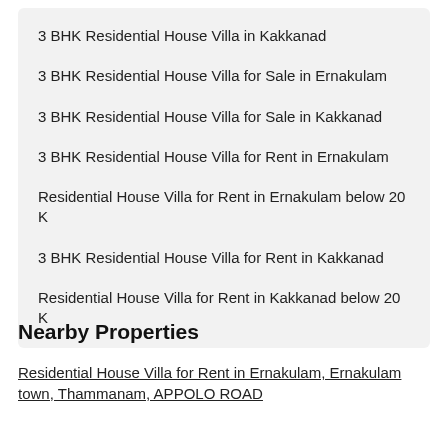3 BHK Residential House Villa in Kakkanad
3 BHK Residential House Villa for Sale in Ernakulam
3 BHK Residential House Villa for Sale in Kakkanad
3 BHK Residential House Villa for Rent in Ernakulam
Residential House Villa for Rent in Ernakulam below 20 K
3 BHK Residential House Villa for Rent in Kakkanad
Residential House Villa for Rent in Kakkanad below 20 K
Nearby Properties
Residential House Villa for Rent in Ernakulam, Ernakulam town, Thammanam, APPOLO ROAD